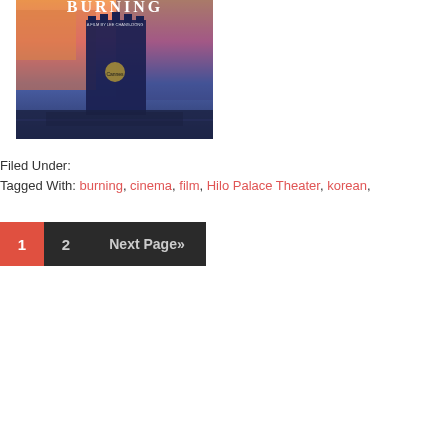[Figure (photo): Movie poster for 'Burning' - shows a dark blue silhouette of a structure against a gradient sky of orange, pink and blue hues, with text 'BURNING' in white at the top and director credit below it.]
Filed Under:
Tagged With: burning, cinema, film, Hilo Palace Theater, korean,
1  2  Next Page»